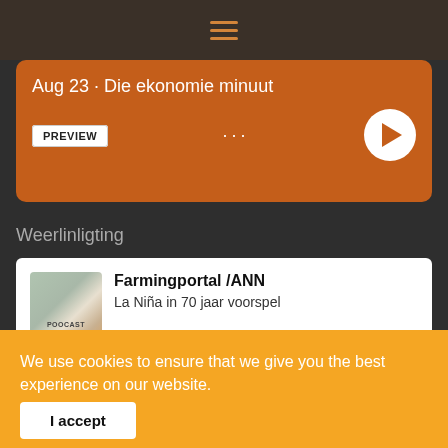[Figure (screenshot): Mobile app navigation bar with hamburger menu icon in orange on dark background]
Aug 23 · Die ekonomie minuut
PREVIEW
Weerlinligting
Farmingportal /ANN
La Niña in 70 jaar voorspel
0:00 / 1:38   1X
We use cookies to ensure that we give you the best experience on our website.
I accept